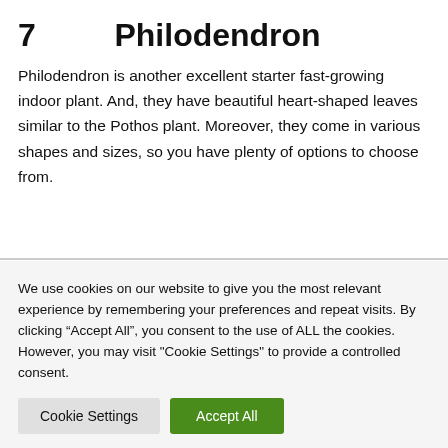7    Philodendron
Philodendron is another excellent starter fast-growing indoor plant. And, they have beautiful heart-shaped leaves similar to the Pothos plant. Moreover, they come in various shapes and sizes, so you have plenty of options to choose from.
We use cookies on our website to give you the most relevant experience by remembering your preferences and repeat visits. By clicking “Accept All”, you consent to the use of ALL the cookies. However, you may visit "Cookie Settings" to provide a controlled consent.